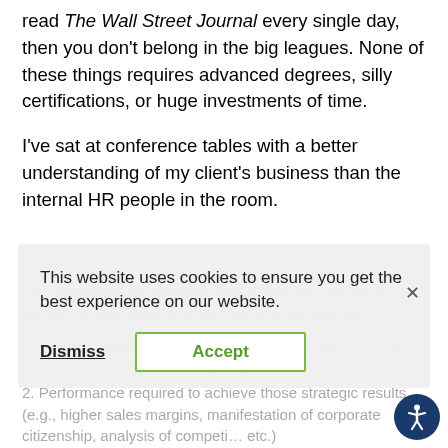read The Wall Street Journal every single day, then you don't belong in the big leagues. None of these things requires advanced degrees, silly certifications, or huge investments of time.
I've sat at conference tables with a better understanding of my client's business than the internal HR people in the room.
The sequence for strategic organizational change is simple, is descending order from the top priority:
1. Desired strategic results (e.g., ROE, contribution to the environment, acquisition of synergistic businesses, etc.)
2. Performance required to achieve those strategic results (e.g., higher sales margins, manifestation of corporate citizenship, analysis of competitive, etc.)
This website uses cookies to ensure you get the best experience on our website.
Dismiss | Accept